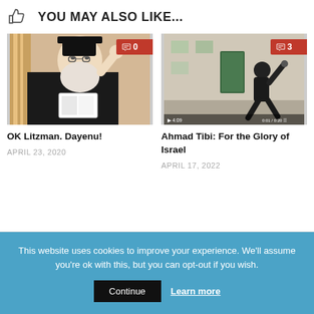YOU MAY ALSO LIKE...
[Figure (photo): Elderly bearded rabbi in black hat and coat, seated, holding a book, gesturing with one hand]
0 comments
OK Litzman. Dayenu!
APRIL 23, 2020
[Figure (screenshot): Person throwing a stone in an urban setting, screenshot of a video]
3 comments
Ahmad Tibi: For the Glory of Israel
APRIL 17, 2022
This website uses cookies to improve your experience. We'll assume you're ok with this, but you can opt-out if you wish.
Continue
Learn more